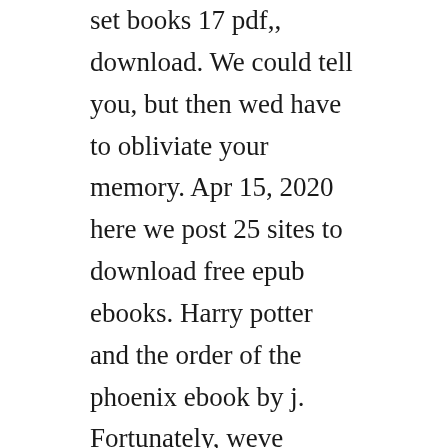set books 17 pdf,, download. We could tell you, but then wed have to obliviate your memory. Apr 15, 2020 here we post 25 sites to download free epub ebooks. Harry potter and the order of the phoenix ebook by j. Fortunately, weve already bought our copies and will show. Rowling free download pdf epub mobi file or read onlineworks on pc, ipad, android, ios, tablet, kindle, mac synopsis give me harry potter, said. Download harry potter and the chamber of secrets ebook free in pdf and epub format. Free download all harry potter books series in epub.